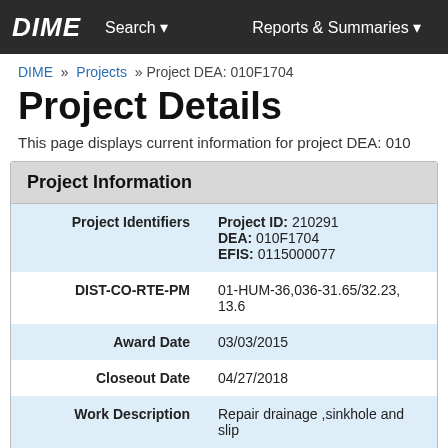DIME   Search ▼   Reports & Summaries ▼
DIME » Projects » Project DEA: 010F1704
Project Details
This page displays current information for project DEA: 010F1704.
Project Information
| Field | Value |
| --- | --- |
| Project Identifiers | Project ID: 210291
DEA: 010F1704
EFIS: 0115000077 |
| DIST-CO-RTE-PM | 01-HUM-36,036-31.65/32.23, 13.6... |
| Award Date | 03/03/2015 |
| Closeout Date | 04/27/2018 |
| Work Description | Repair drainage ,sinkhole and slip... |
| Location Description | About 8 miles of Bridgeville at 0.1... |